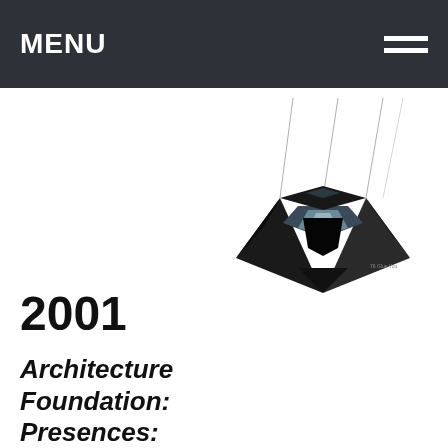MENU
[Figure (photo): A suspended geometric sculptural object, dark metallic pyramid/diamond shape hanging from thin wires, photographed against a white background with small text '76 Glue You' visible at lower right]
2001
Architecture Foundation: Presences: